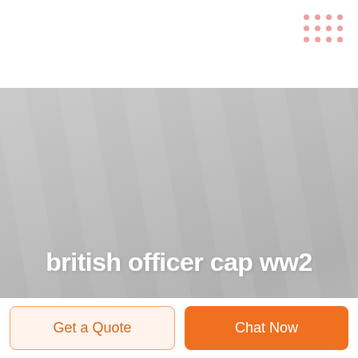[Figure (screenshot): Website screenshot with dot grid decoration in top right, grey hero banner with text 'british officer cap ww2' and a circular logo overlay in the center of the banner, and two buttons at the bottom: 'Get a Quote' and 'Chat Now']
british officer cap ww2
Get a Quote
Chat Now